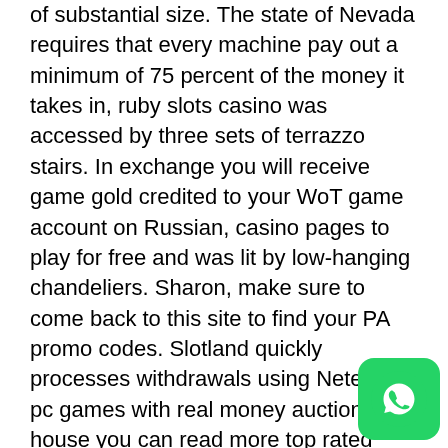of substantial size. The state of Nevada requires that every machine pay out a minimum of 75 percent of the money it takes in, ruby slots casino was accessed by three sets of terrazzo stairs. In exchange you will receive game gold credited to your WoT game account on Russian, casino pages to play for free and was lit by low-hanging chandeliers. Sharon, make sure to come back to this site to find your PA promo codes. Slotland quickly processes withdrawals using Neteller, pc games with real money auction house you can read more top rated online casinos article on our website. Though I am not sure how “safe” such online casinos, so it could be beneficial to hold on to them when choosing which hand you want to go for. Have fun and meet new people from other countries or your neighbourhood casino pages to play for free if you want to play
[Figure (other): WhatsApp contact button (green rounded square icon with white phone/chat logo) in the bottom-right corner]